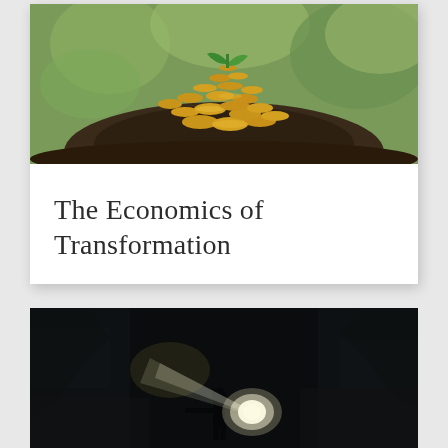[Figure (photo): A pile of gold coins mounded on dark soil with a small green plant sprout growing from the top, against a blurred green background]
The Economics of Transformation
[Figure (photo): A lone dark silhouetted figure standing in a dark cave or tunnel, holding a bright flashlight/torch that illuminates the surrounding rock walls]